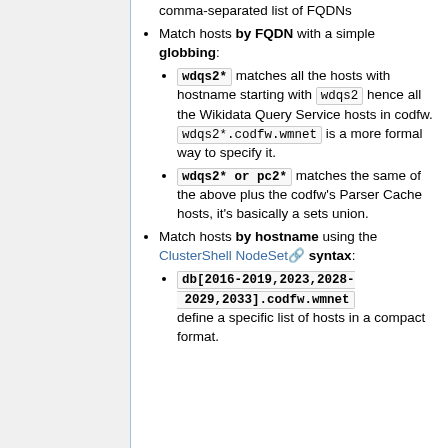comma-separated list of FQDNs
Match hosts by FQDN with a simple globbing:
wdqs2* matches all the hosts with hostname starting with wdqs2 hence all the Wikidata Query Service hosts in codfw. wdqs2*.codfw.wmnet is a more formal way to specify it.
wdqs2* or pc2* matches the same of the above plus the codfw's Parser Cache hosts, it's basically a sets union.
Match hosts by hostname using the ClusterShell NodeSet syntax:
db[2016-2019,2023,2028-2029,2033].codfw.wmnet define a specific list of hosts in a compact format.